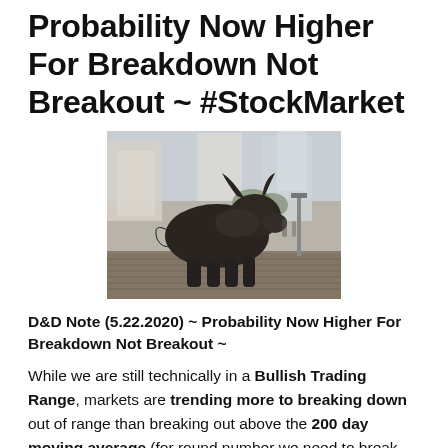Probability Now Higher For Breakdown Not Breakout ~ #StockMarket
[Figure (photo): Photo of the Charging Bull bronze sculpture on cobblestone street in New York financial district, with city buildings in background]
D&D Note (5.22.2020) ~ Probability Now Higher For Breakdown Not Breakout ~
While we are still technically in a Bullish Trading Range, markets are trending more to breaking down out of range than breaking out above the 200 day moving average (for round number we need to break out above